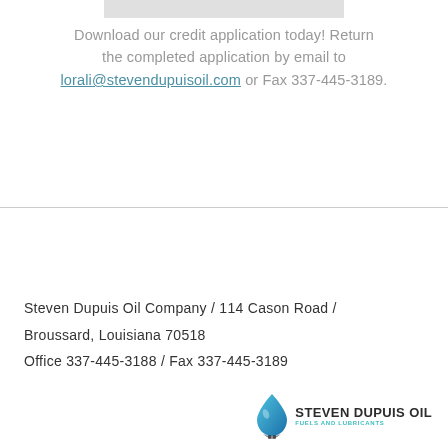[Figure (other): Light gray rectangular bar at top center of page]
Download our credit application today! Return the completed application by email to lorali@stevendupuisoil.com or Fax 337-445-3189.
Steven Dupuis Oil Company / 114 Cason Road / Broussard, Louisiana 70518 Office 337-445-3188 / Fax 337-445-3189
[Figure (logo): Steven Dupuis Oil logo with blue oil drop icon and company name]